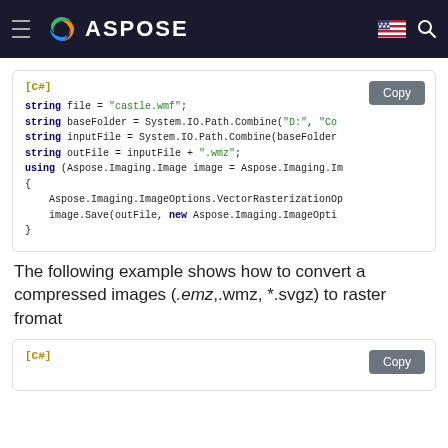ASPOSE
[Figure (screenshot): Code block showing C# code for WMF to WMZ conversion using Aspose.Imaging]
The following example shows how to convert a compressed images (.emz,.wmz, *.svgz) to raster fromat
[Figure (screenshot): Second code block showing [C#] label and Copy button, partially visible]